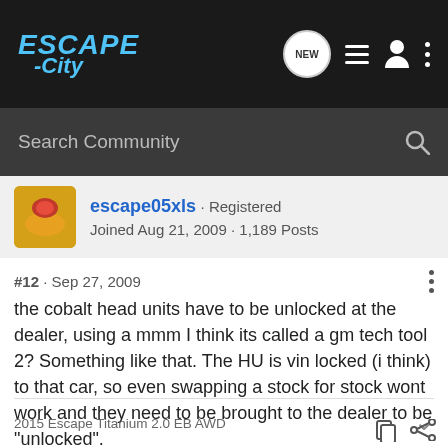ESCAPE -City | NEW [nav icons]
Search Community
escape05xls · Registered
Joined Aug 21, 2009 · 1,189 Posts
#12 · Sep 27, 2009
the cobalt head units have to be unlocked at the dealer, using a mmm I think its called a gm tech tool 2? Something like that. The HU is vin locked (i think) to that car, so even swapping a stock for stock wont work and they need to be brought to the dealer to be "unlocked".
2015 Escape Titanium 2.0 EB AWD